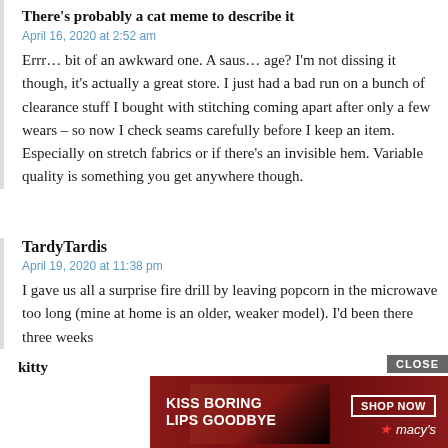There's probably a cat meme to describe it
April 16, 2020 at 2:52 am
Errr… bit of an awkward one. A saus… age? I'm not dissing it though, it's actually a great store. I just had a bad run on a bunch of clearance stuff I bought with stitching coming apart after only a few wears – so now I check seams carefully before I keep an item. Especially on stretch fabrics or if there's an invisible hem. Variable quality is something you get anywhere though.
TardyTardis
April 19, 2020 at 11:38 pm
I gave us all a surprise fire drill by leaving popcorn in the microwave too long (mine at home is an older, weaker model). I'd been there three weeks
[Figure (other): Macy's advertisement banner: dark red background with woman's face and red lips. Text reads 'KISS BORING LIPS GOODBYE' on left, 'SHOP NOW' button and Macy's logo with star on right. CLOSE button in top right corner.]
kitty